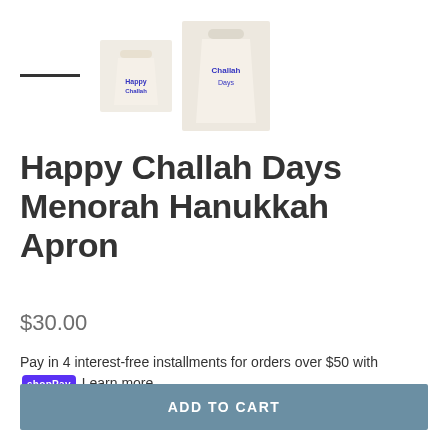[Figure (photo): Product image thumbnails of a white Hanukkah apron with blue text, showing two thumbnail views and a dash/slider indicator]
Happy Challah Days Menorah Hanukkah Apron
$30.00
Pay in 4 interest-free installments for orders over $50 with Shop Pay. Learn more
ADD TO CART